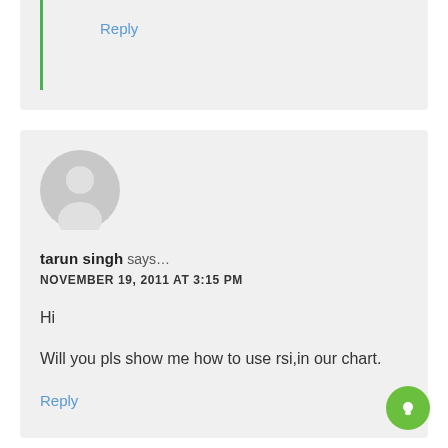Reply
tarun singh says...
NOVEMBER 19, 2011 AT 3:15 PM
Hi

Will you pls show me how to use rsi,in our chart.
Reply